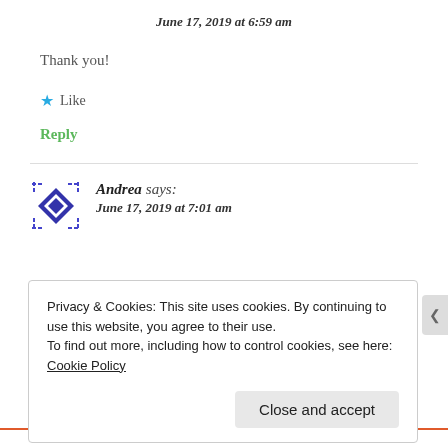June 17, 2019 at 6:59 am
Thank you!
★ Like
Reply
Andrea says:
June 17, 2019 at 7:01 am
Privacy & Cookies: This site uses cookies. By continuing to use this website, you agree to their use.
To find out more, including how to control cookies, see here: Cookie Policy
Close and accept